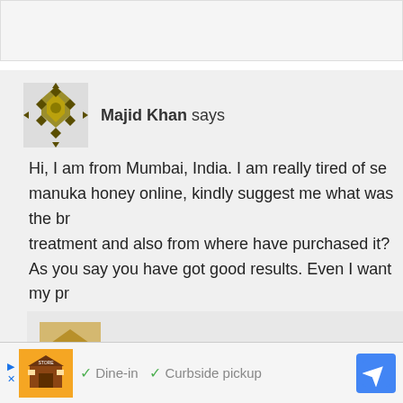Majid Khan says
Hi, I am from Mumbai, India. I am really tired of searching manuka honey online, kindly suggest me what was the brand of manuka honey you used for h.pylori treatment and also from where have purchased it?
As you say you have got good results. Even I want my problem (my problem with full symptoms of h.pylori) to be solved soon.
Thank you.
Reply
Homemade Hints says
[Figure (screenshot): Ad bar with restaurant icon, dine-in and curbside pickup text, navigation icon]